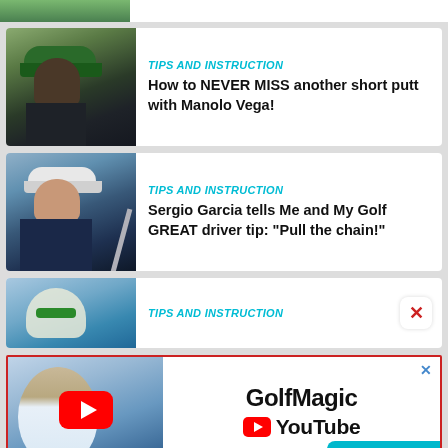[Figure (photo): Partial top strip showing green foliage background]
[Figure (photo): Golfer with green cap and dark shirt on a golf course with green background - Manolo Vega]
TIPS AND INSTRUCTION
How to NEVER MISS another short putt with Manolo Vega!
[Figure (photo): Golfer in navy blue polo shirt mid-swing - Sergio Garcia]
TIPS AND INSTRUCTION
Sergio Garcia tells Me and My Golf GREAT driver tip: "Pull the chain!"
[Figure (photo): Golfer with white cap on golf course - partial view]
TIPS AND INSTRUCTION
[Figure (photo): Ad banner: GolfMagic YouTube channel advertisement with golfer and YouTube logo]
GolfMagic YouTube